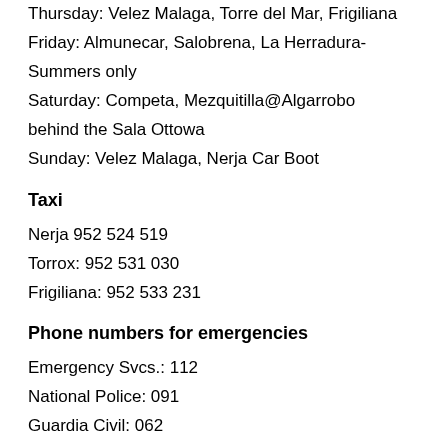Thursday: Velez Malaga, Torre del Mar, Frigiliana
Friday: Almunecar, Salobrena, La Herradura- Summers only
Saturday: Competa, Mezquitilla@Algarrobo behind the Sala Ottowa
Sunday: Velez Malaga, Nerja Car Boot
Taxi
Nerja 952 524 519
Torrox: 952 531 030
Frigiliana: 952 533 231
Phone numbers for emergencies
Emergency Svcs.: 112
National Police: 091
Guardia Civil: 062